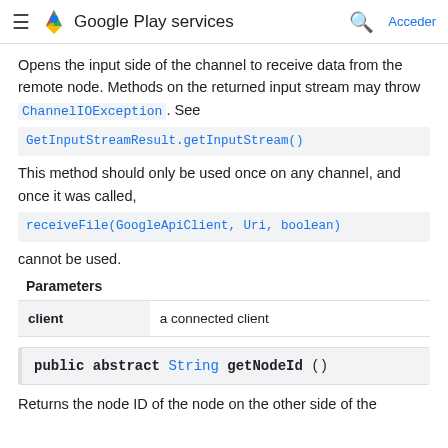Google Play services  Acceder
Opens the input side of the channel to receive data from the remote node. Methods on the returned input stream may throw ChannelIOException. See GetInputStreamResult.getInputStream()
This method should only be used once on any channel, and once it was called, receiveFile(GoogleApiClient, Uri, boolean) cannot be used.
Parameters
|  |  |
| --- | --- |
| client | a connected client |
public abstract String getNodeId ()
Returns the node ID of the node on the other side of the